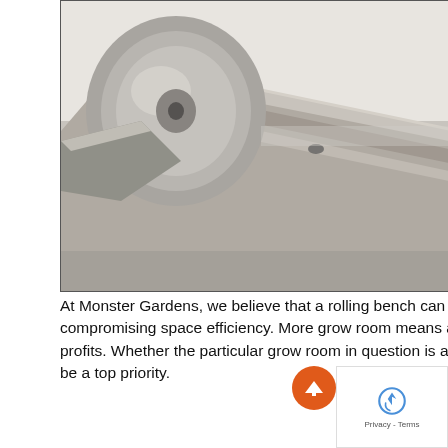[Figure (photo): Close-up photograph of a metallic rolling bench track/rail component. A circular wheel or roller mechanism is visible on the left, attached to a long corrugated metal rail that extends diagonally to the right. The metal surface is galvanized steel, showing some wear and dust.]
At Monster Gardens, we believe that a rolling bench can provide adequate space to access plants with ease without compromising space efficiency. More grow room means a potentially higher plant volume, in turn, leading to higher annual profits. Whether the particular grow room in question is a small greenhouse or a s warehouse, bench space efficiency should be a top priority.